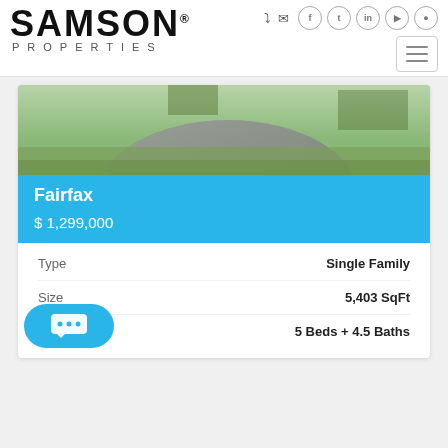SAMSON PROPERTIES
[Figure (photo): Exterior driveway photo of a residential property with green lawn and paved curved driveway]
Fairfax
$ 1,299,000
|  |  |
| --- | --- |
| Type | Single Family |
| Size | 5,403 SqFt |
| Rooms | 5 Beds + 4.5 Baths |